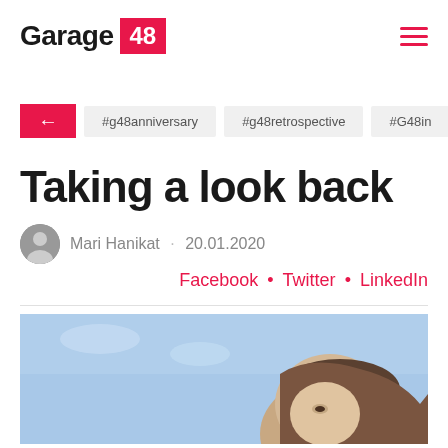Garage 48
← #g48anniversary #g48retrospective #G48in...
Taking a look back
Mari Hanikat . 20.01.2020
Facebook • Twitter • LinkedIn
[Figure (photo): Close-up photo of a person's face with a blue sky background]